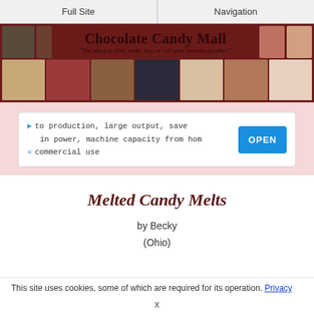Full Site | Navigation
[Figure (illustration): Chocolate Candy Mall website banner with title text 'Chocolate Candy Mall' and subtitle 'The place to find, make, buy, or sell your favorite goodies!' with thumbnail photos of chocolates and candies]
[Figure (screenshot): Advertisement box with text: 'to production, large output, save in power, machine capacity from home commercial use' and an OPEN button]
Melted Candy Melts
by Becky
(Ohio)
This site uses cookies, some of which are required for its operation. Privacy